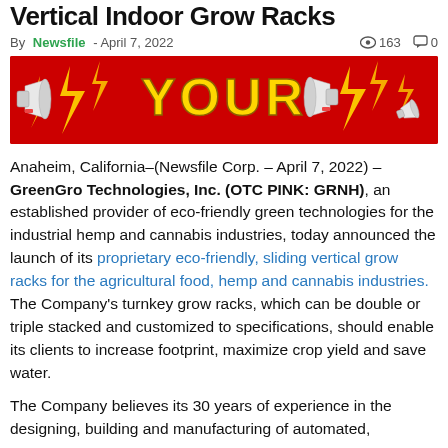Vertical Indoor Grow Racks
By Newsfile - April 7, 2022   👁 163   💬 0
[Figure (illustration): Red advertisement banner with megaphones and lightning bolts, displaying the word YOUR in large yellow text]
Anaheim, California–(Newsfile Corp. – April 7, 2022) – GreenGro Technologies, Inc. (OTC PINK: GRNH), an established provider of eco-friendly green technologies for the industrial hemp and cannabis industries, today announced the launch of its proprietary eco-friendly, sliding vertical grow racks for the agricultural food, hemp and cannabis industries. The Company's turnkey grow racks, which can be double or triple stacked and customized to specifications, should enable its clients to increase footprint, maximize crop yield and save water.
The Company believes its 30 years of experience in the designing, building and manufacturing of automated,